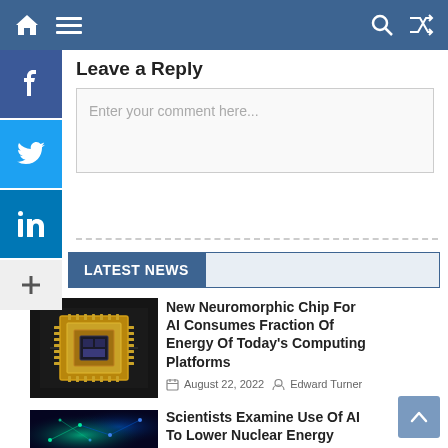Navigation bar with home, menu, search, and shuffle icons
Leave a Reply
Enter your comment here...
TEST NEWS
[Figure (photo): Gold neuromorphic chip on dark background]
New Neuromorphic Chip For AI Consumes Fraction Of Energy Of Today's Computing Platforms
August 22, 2022   Edward Turner
[Figure (photo): AI neural network visualization with blue and green lights]
Scientists Examine Use Of AI To Lower Nuclear Energy Cost